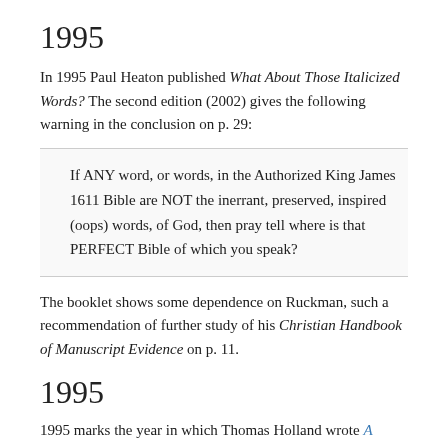1995
In 1995 Paul Heaton published What About Those Italicized Words? The second edition (2002) gives the following warning in the conclusion on p. 29:
If ANY word, or words, in the Authorized King James 1611 Bible are NOT the inerrant, preserved, inspired (oops) words, of God, then pray tell where is that PERFECT Bible of which you speak?
The booklet shows some dependence on Ruckman, such a recommendation of further study of his Christian Handbook of Manuscript Evidence on p. 11.
1995
1995 marks the year in which Thomas Holland wrote A Critique of James R. White’s Book “The King James Only Controversy: Can You Trust the Modern Translations?” He felt that Peter Ruckman had been